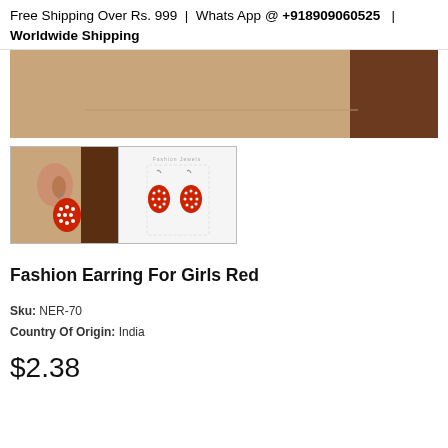Free Shipping Over Rs. 999  |  Whats App @ +918909060525  |  Worldwide Shipping
[Figure (photo): Cropped product photo of a woman's neck/shoulder showing a red teardrop earring with white dot pattern]
[Figure (photo): Two thumbnail images: first shows close-up of red teardrop earring on a woman's ear; second shows a pair of red teardrop earrings with white dot pattern on a white product card]
Fashion Earring For Girls Red
Sku: NER-70
Country Of Origin: India
$2.38